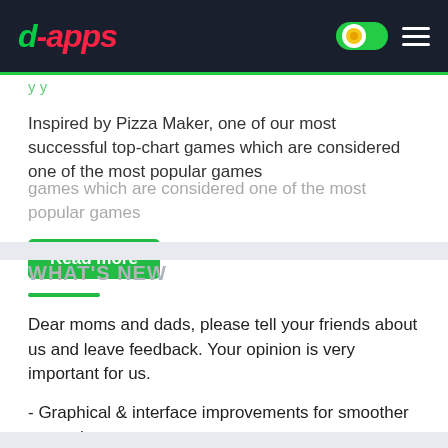d-apps
Inspired by Pizza Maker, one of our most successful top-chart games which are considered one of the most popular games
Read more
WHAT'S NEW
Dear moms and dads, please tell your friends about us and leave feedback. Your opinion is very important for us.
- Graphical & interface improvements for smoother gameplay
- We've fixed some annoying bugs to make sure you enjoy every second of your Pazu-time